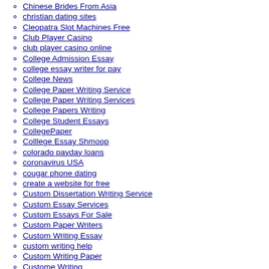Chinese Brides From Asia
christian dating sites
Cleopatra Slot Machines Free
Club Player Casino
club player casino online
College Admission Essay
college essay writer for pay
College News
College Paper Writing Service
College Paper Writing Services
College Papers Writing
College Student Essays
CollegePaper
Colllege Essay Shmoop
colorado payday loans
coronavirus USA
cougar phone dating
create a website for free
Custom Dissertation Writing Service
Custom Essay Services
Custom Essays For Sale
Custom Paper Writers
Custom Writing Essay
custom writing help
Custom Writing Paper
Custome Writing
Customessay
Customs Writing
Cute Asian Women
czech bride